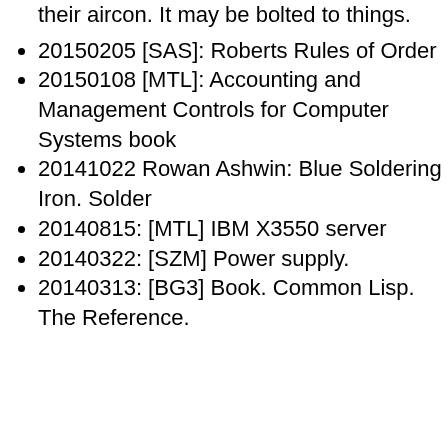their aircon. It may be bolted to things.
20150205 [SAS]: Roberts Rules of Order
20150108 [MTL]: Accounting and Management Controls for Computer Systems book
20141022 Rowan Ashwin: Blue Soldering Iron. Solder
20140815: [MTL] IBM X3550 server
20140322: [SZM] Power supply.
20140313: [BG3] Book. Common Lisp. The Reference.